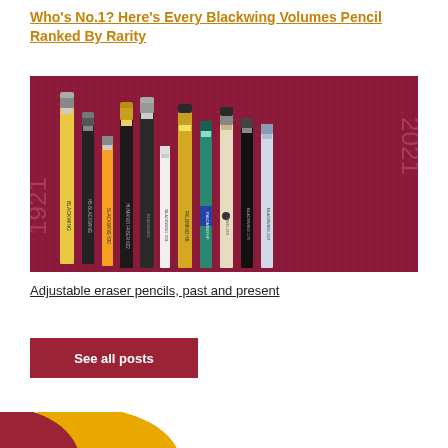Who's No.1? Here's Every Blackwing Volumes Pencil Ranked By Rarity
[Figure (photo): Photo of multiple pencils with adjustable erasers arranged vertically on a dark red/maroon dotted background. Numbers '1921' and '2021' visible on the sides. Pencil brands include Blackwing, Palomino, and others.]
Adjustable eraser pencils, past and present
See all posts